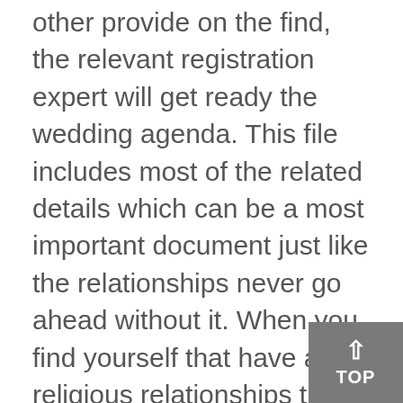other provide on the find, the relevant registration expert will get ready the wedding agenda. This file includes most of the related details which can be a most important document just like the relationships never go ahead without it. When you find yourself that have a religious relationships the wedding agenda have a tendency to feel provided to you by registrar. It will just be approved on bride or bridegroom very no person can collect they on your behalf. This relationships agenda have to be supplied to the person plenty of fish carrying out the fresh marriage ahead of the service. Both of you will have to sign it in addition to a few witnesses therefore the people starting the marriage ceremony. This can up coming getting gone back to the newest registrar and so the matrimony would be entered.